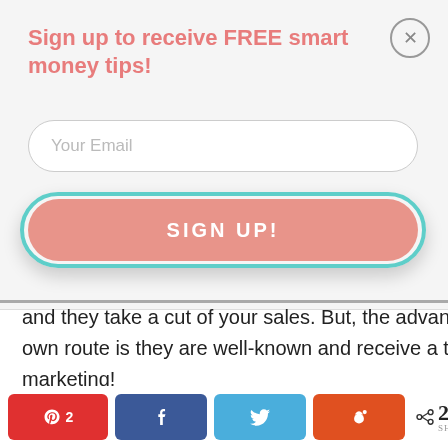Sign up to receive FREE smart money tips!
Your Email
SIGN UP!
and they take a cut of your sales. But, the advantage to selling on Etsy instead of going your own route is they are well-known and receive a ton of traffic. Plus, they advertise so you get free marketing!
2 SHARES